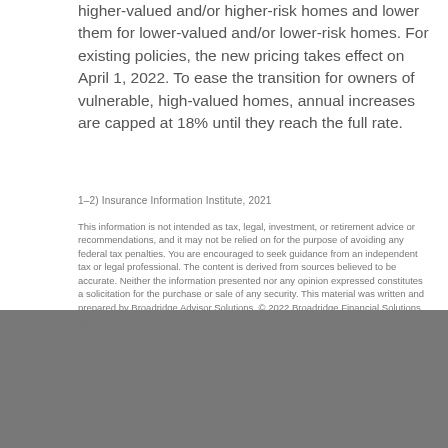higher-valued and/or higher-risk homes and lower them for lower-valued and/or lower-risk homes. For existing policies, the new pricing takes effect on April 1, 2022. To ease the transition for owners of vulnerable, high-valued homes, annual increases are capped at 18% until they reach the full rate.
1–2) Insurance Information Institute, 2021
This information is not intended as tax, legal, investment, or retirement advice or recommendations, and it may not be relied on for the purpose of avoiding any federal tax penalties. You are encouraged to seek guidance from an independent tax or legal professional. The content is derived from sources believed to be accurate. Neither the information presented nor any opinion expressed constitutes a solicitation for the purchase or sale of any security. This material was written and prepared by Broadridge Advisor Solutions. © 2022 Broadridge Financial Solutions, Inc.